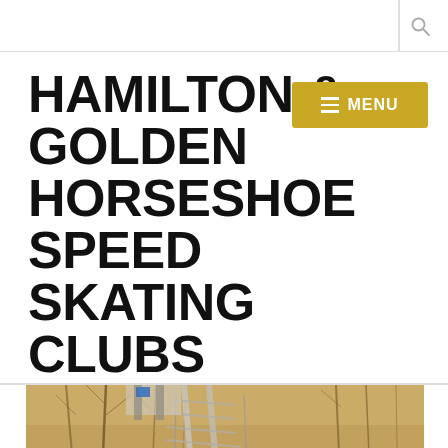HAMILTON & GOLDEN HORSESHOE SPEED SKATING CLUBS
≡ MENU
[Figure (photo): Outdoor staircase or elevated walkway with metal railings winding through bare winter trees; a person visible on the stairs in the distance, warm earthy tones of dried brush and branches.]